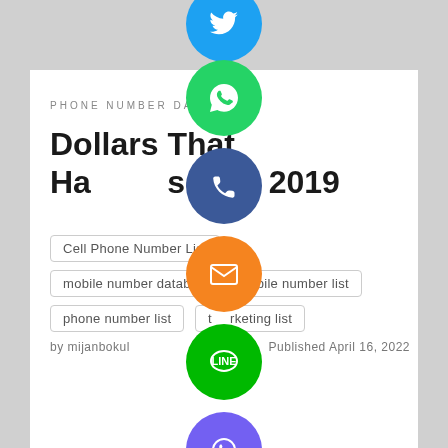PHONE NUMBER DATABASE
Dollars That Happened in 2019
Cell Phone Number List
mobile number database
mobile number list
phone number list
telemarketing list
by mijanbokul
Published April 16, 2022
[Figure (infographic): Vertical column of social sharing icon circles: Twitter (blue), WhatsApp (green), Phone (blue), Email (orange), LINE (green), Viber (purple), Close/X (green)]